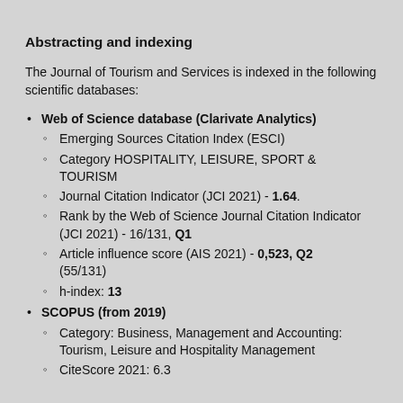Abstracting and indexing
The Journal of Tourism and Services is indexed in the following scientific databases:
Web of Science database (Clarivate Analytics)
Emerging Sources Citation Index (ESCI)
Category HOSPITALITY, LEISURE, SPORT & TOURISM
Journal Citation Indicator (JCI 2021) - 1.64.
Rank by the Web of Science Journal Citation Indicator (JCI 2021) - 16/131, Q1
Article influence score (AIS 2021) - 0,523, Q2 (55/131)
h-index: 13
SCOPUS (from 2019)
Category: Business, Management and Accounting: Tourism, Leisure and Hospitality Management
CiteScore 2021: 6.3